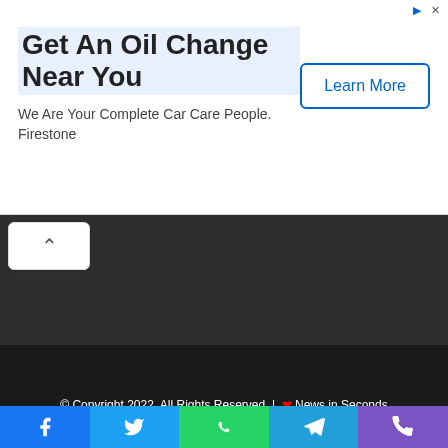[Figure (screenshot): Advertisement banner: 'Get An Oil Change Near You' by Firestone with 'Learn More' button]
[Figure (screenshot): Scroll-up chevron button]
© Copyright 2022, All Rights Reserved | ❤ News in Seconds
Home   Privacy Policy   Terms of Service   Cookie Policy
[Figure (infographic): Social media icons: Facebook, LinkedIn, Instagram, Flipboard]
[Figure (infographic): Share bar with Facebook, Twitter, WhatsApp, Telegram, Phone icons]